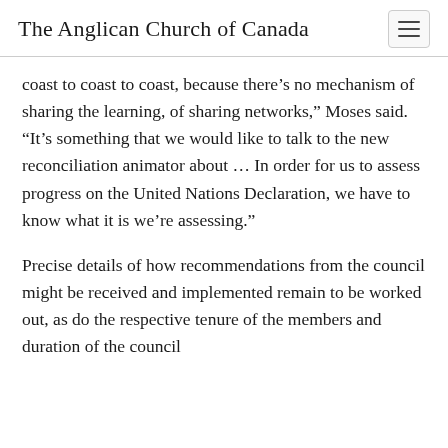The Anglican Church of Canada
coast to coast to coast, because there’s no mechanism of sharing the learning, of sharing networks,” Moses said. “It’s something that we would like to talk to the new reconciliation animator about… In order for us to assess progress on the United Nations Declaration, we have to know what it is we’re assessing.”
Precise details of how recommendations from the council might be received and implemented remain to be worked out, as do the respective tenure of the members and duration of the council